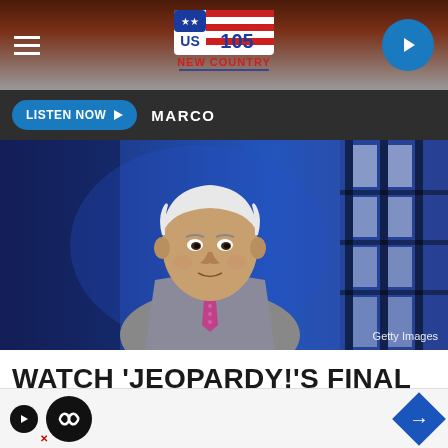[Figure (screenshot): US 105 New Country radio station mobile app screenshot showing navigation bar with hamburger menu, US 105 logo, and play button]
LISTEN NOW ▶  MARCO
[Figure (photo): Man in grey suit with pink tie standing in front of blue Jeopardy! game show set background. Getty Images watermark visible.]
Getty Images
WATCH 'JEOPARDY!'S FINAL TRI...